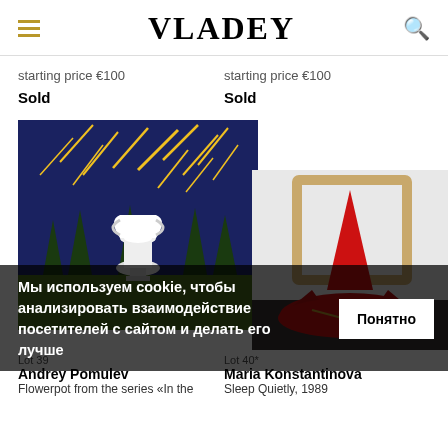VLADEY
starting price €100
starting price €100
Sold
Sold
[Figure (illustration): Dark blue night-sky painting with yellow shooting stars/meteors, white vase/trophy on green ground with dark conifer trees]
[Figure (photo): Photo of a red sculptural textile artwork resembling a star shape with pointed top, leaning against a wooden frame on a dark surface]
Мы используем cookie, чтобы анализировать взаимодействие посетителей с сайтом и делать его лучше
Понятно
Lot 39
Andrey Pomulev
Flowerpot from the series «In the
Lot 40*
Maria Konstantinova
Sleep Quietly, 1989